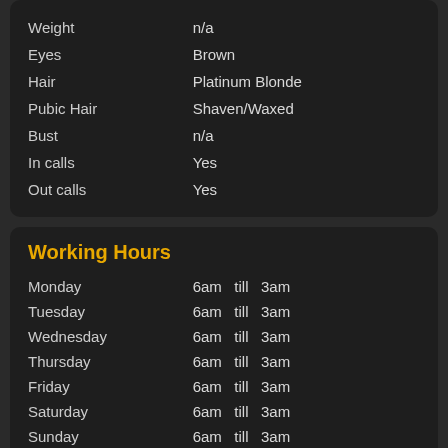| Attribute | Value |
| --- | --- |
| Weight | n/a |
| Eyes | Brown |
| Hair | Platinum Blonde |
| Pubic Hair | Shaven/Waxed |
| Bust | n/a |
| In calls | Yes |
| Out calls | Yes |
Working Hours
| Day | Hours |
| --- | --- |
| Monday | 6am  till  3am |
| Tuesday | 6am  till  3am |
| Wednesday | 6am  till  3am |
| Thursday | 6am  till  3am |
| Friday | 6am  till  3am |
| Saturday | 6am  till  3am |
| Sunday | 6am  till  3am |